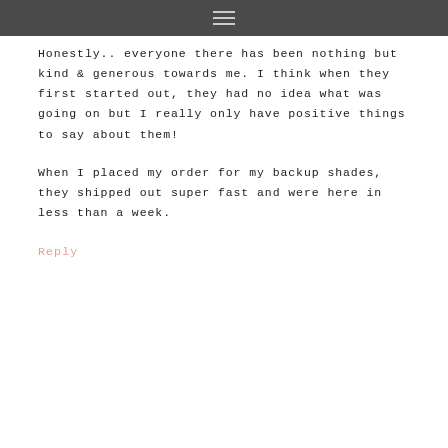≡
Honestly.. everyone there has been nothing but kind & generous towards me. I think when they first started out, they had no idea what was going on but I really only have positive things to say about them!
When I placed my order for my backup shades, they shipped out super fast and were here in less than a week.
Reply